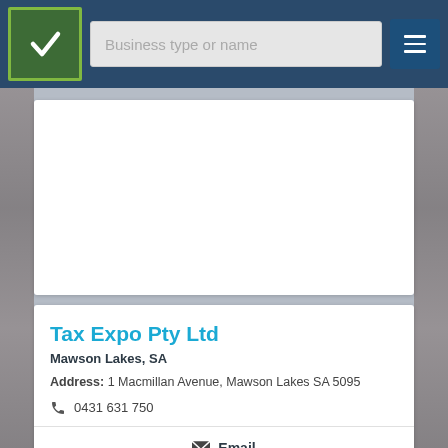[Figure (screenshot): Navigation bar with logo (green checkbox icon), search input placeholder 'Business type or name', and hamburger menu button]
[Figure (other): White card area, likely an advertisement space, no content visible]
Tax Expo Pty Ltd
Mawson Lakes, SA
Address: 1 Macmillan Avenue, Mawson Lakes SA 5095
0431 631 750
Email
Claim
Call N...